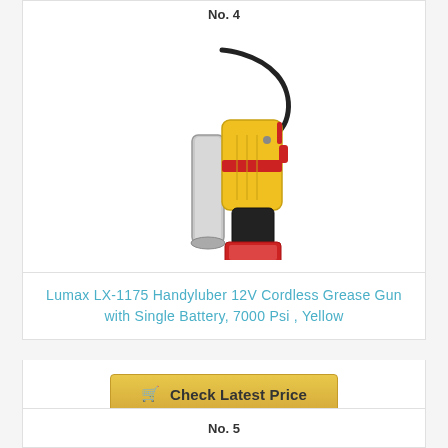No. 4
[Figure (photo): Lumax LX-1175 Handyluber 12V Cordless Grease Gun with yellow and black body, silver barrel, and flexible hose]
Lumax LX-1175 Handyluber 12V Cordless Grease Gun with Single Battery, 7000 Psi , Yellow
Check Latest Price
No. 5
[Figure (photo): Partial view of another product image at bottom of page]